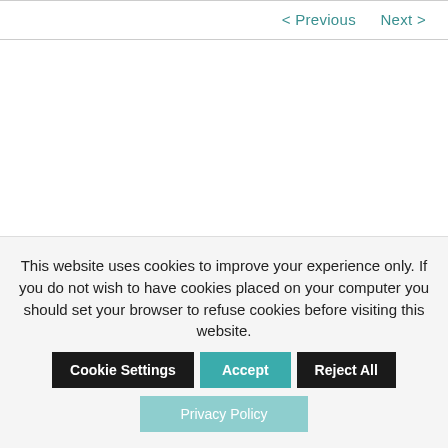< Previous   Next >
This website uses cookies to improve your experience only. If you do not wish to have cookies placed on your computer you should set your browser to refuse cookies before visiting this website.
Cookie Settings | Accept | Reject All
Privacy Policy